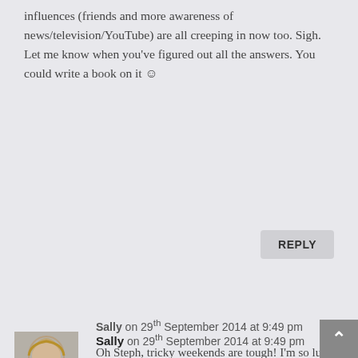influences (friends and more awareness of news/television/YouTube) are all creeping in now too. Sigh. Let me know when you've figured out all the answers. You could write a book on it ☺
REPLY
[Figure (photo): Avatar photo of Sally - a woman with long blonde hair]
Sally on 29th September 2014 at 9:49 pm
Oh Steph, tricky weekends are tough! I'm so lucky in so many ways with Flea – it says something that she managed to run away from home while remaining unfailingly polite, no shouting, no tantrums. Just a quiet protest 🙂
But it's tricky I think to realise that you're the one helping them learn values,